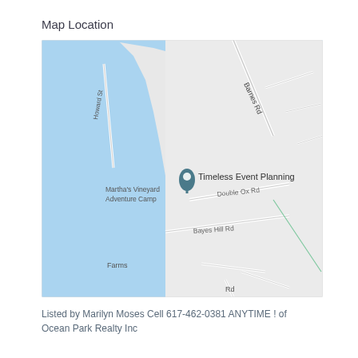Map Location
[Figure (map): Google Maps screenshot showing the location of Timeless Event Planning near Martha's Vineyard Adventure Camp, with roads including Barnes Rd, Double Ox Rd, Bayes Hill Rd, and Howard St. A blue water body appears on the left side. A location pin marks Timeless Event Planning.]
Listed by Marilyn Moses Cell 617-462-0381 ANYTIME ! of Ocean Park Realty Inc